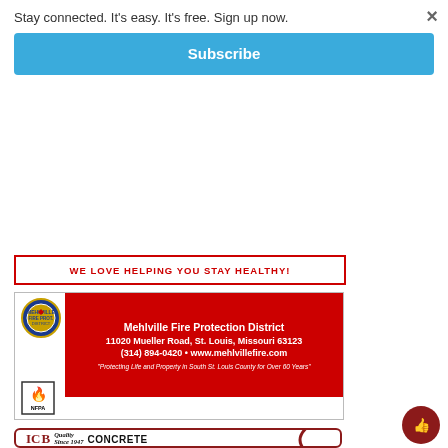Stay connected. It's easy. It's free. Sign up now.
× (close button)
Subscribe
WE LOVE HELPING YOU STAY HEALTHY!
[Figure (infographic): Mehlville Fire Protection District advertisement with logo, NFPA seal, red background panel with address: 11020 Mueller Road, St. Louis, Missouri 63123, phone (314) 894-0420, www.mehlvillefire.com, quote 'Protecting Life and Property in South St. Louis County for Over 60 Years']
[Figure (logo): Lemay Concrete Block logo with 'ICB' letters, 'Quality Since 1947' text, dark red circular swoosh design]